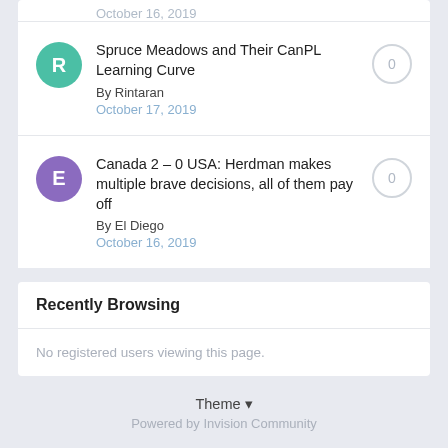October 16, 2019
Spruce Meadows and Their CanPL Learning Curve
By Rintaran
October 17, 2019
Canada 2 – 0 USA: Herdman makes multiple brave decisions, all of them pay off
By El Diego
October 16, 2019
Recently Browsing
No registered users viewing this page.
Theme ▾
Powered by Invision Community